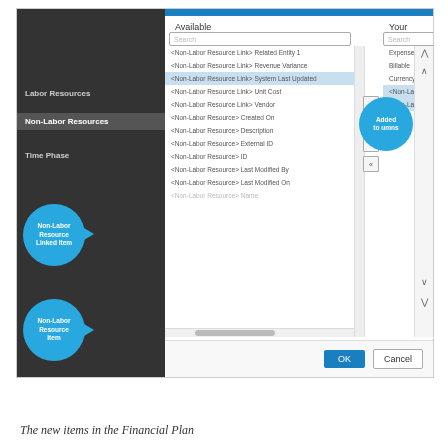[Figure (screenshot): A software dialog box for configuring Financial Plan columns. Left sidebar shows: Labor Resources, Non-Labor Resources (selected), Time Phase. Middle 'Available' panel lists fields such as <Non-Labor Resource Link> Related Entity 1, Revenue Variance, System Last Updated, Unit Cost, Vendor; <Non-Labor Resource> Created On, Description, External ID, Last Modified By, Last Modified On, Name. A blue callout bubble labels 'Non-Labor Resource Linked item' pointing to the Vendor entry, and another 'Non-Labor Resource Item' pointing to Created On. Right 'Your Selections' panel shows: Expense Type, Billable, Currency Type, <Non-Labor Resource> Created By, <Non-Labor Resource> Category, None. A blue callout bubble labeled 'Added to columns' points into the selections panel. Navigation arrows in center. OK and Cancel buttons at bottom.]
The new items in the Financial Plan